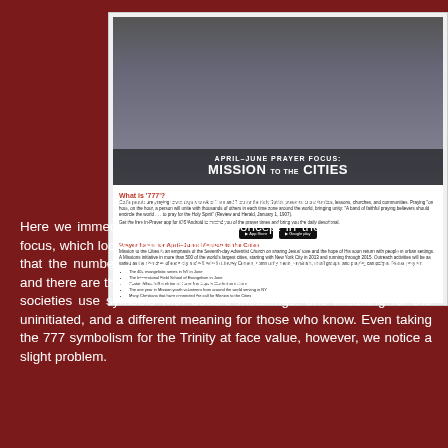[Figure (screenshot): Screenshot of the Revival and Reformation website showing 'April-June Prayer Focus: Mission to the Cities' banner, a '777' section, App Store and Google Play buttons, and a prayer focus section with bullet points.]
Figure 3 – Revival and Reformation website
Here we immediately see the 777 concept in the April–June prayer focus, which looks pretty harmless on the surface. We could suppose that the number 7 here represents the perfection of the Godhead, and there are three 7's to represent the Trinity. Remember, the secret societies use symbols with double meanings: one meaning for the uninitiated, and a different meaning for those who know. Even taking the 777 symbolism for the Trinity at face value, however, we notice a slight problem.